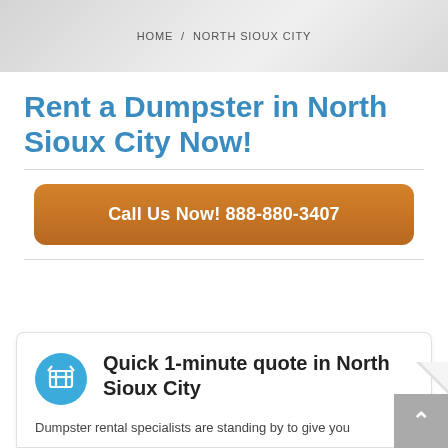HOME / NORTH SIOUX CITY
Rent a Dumpster in North Sioux City Now!
Call Us Now! 888-880-3407
Quick 1-minute quote in North Sioux City
Dumpster rental specialists are standing by to give you